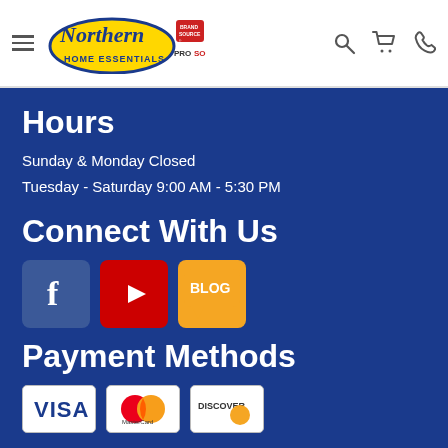Northern Home Essentials — BrandSource ProSource navigation header
Hours
Sunday & Monday Closed
Tuesday - Saturday 9:00 AM - 5:30 PM
Connect With Us
[Figure (logo): Social media icons: Facebook, YouTube, Blog]
Payment Methods
[Figure (logo): Payment card logos: Visa, MasterCard, Discover]